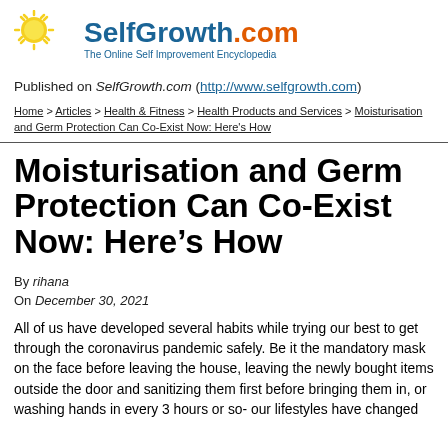[Figure (logo): SelfGrowth.com logo with sun icon and tagline 'The Online Self Improvement Encyclopedia']
Published on SelfGrowth.com (http://www.selfgrowth.com)
Home > Articles > Health & Fitness > Health Products and Services > Moisturisation and Germ Protection Can Co-Exist Now: Here's How
Moisturisation and Germ Protection Can Co-Exist Now: Here's How
By rihana
On December 30, 2021
All of us have developed several habits while trying our best to get through the coronavirus pandemic safely. Be it the mandatory mask on the face before leaving the house, leaving the newly bought items outside the door and sanitizing them first before bringing them in, or washing hands in every 3 hours or so- our lifestyles have changed